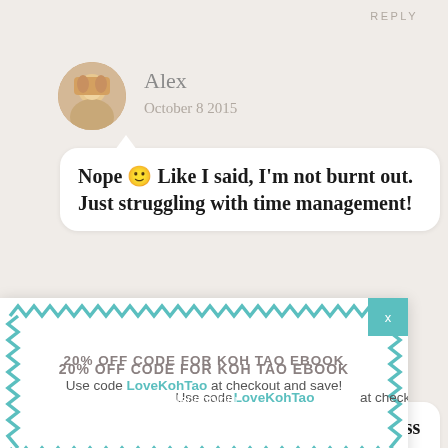REPLY
Alex
October 8 2015
Nope 🙂 Like I said, I'm not burnt out. Just struggling with time management!
[Figure (infographic): Popup banner with zigzag teal border. Contains: '20% OFF CODE FOR KOH TAO EBOOK' and 'Use code LoveKohTao at checkout and save!' with a teal X close button.]
20% OFF CODE FOR KOH TAO EBOOK
Use code LoveKohTao at checkout and save!
October 8 2015
Glad to hear you're back in Koh Tao! I miss it. I pick photo A this week!